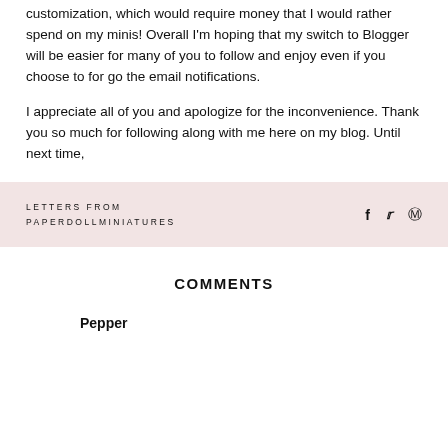customization, which would require money that I would rather spend on my minis! Overall I'm hoping that my switch to Blogger will be easier for many of you to follow and enjoy even if you choose to for go the email notifications.
I appreciate all of you and apologize for the inconvenience. Thank you so much for following along with me here on my blog. Until next time,
LETTERS FROM PAPERDOLLMINIATURES
COMMENTS
Pepper